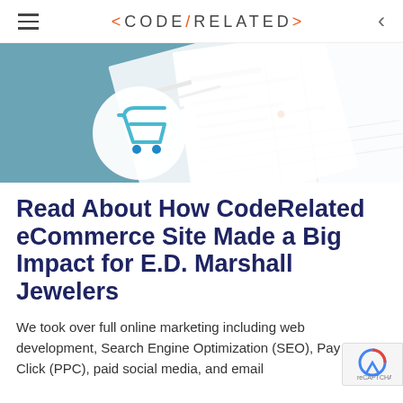< CODE/RELATED >
[Figure (illustration): Hero banner image with teal background showing a stylized shopping cart icon (white circle with blue cart drawing and blue dots) alongside white paper documents/spreadsheets arranged on the surface.]
Read About How CodeRelated eCommerce Site Made a Big Impact for E.D. Marshall Jewelers
We took over full online marketing including web development, Search Engine Optimization (SEO), Pay Per Click (PPC), paid social media, and email